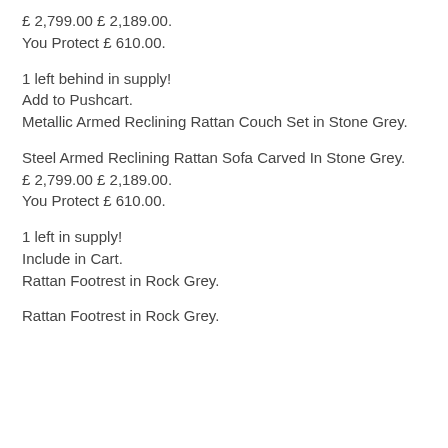£ 2,799.00 £ 2,189.00.
You Protect £ 610.00.
1 left behind in supply!
Add to Pushcart.
Metallic Armed Reclining Rattan Couch Set in Stone Grey.
Steel Armed Reclining Rattan Sofa Carved In Stone Grey.
£ 2,799.00 £ 2,189.00.
You Protect £ 610.00.
1 left in supply!
Include in Cart.
Rattan Footrest in Rock Grey.
Rattan Footrest in Rock Grey.